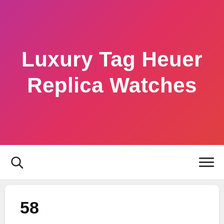Luxury Tag Heuer Replica Watches
[Figure (screenshot): Navigation bar with search icon on left and hamburger menu icon on right]
58
March 12, 2019